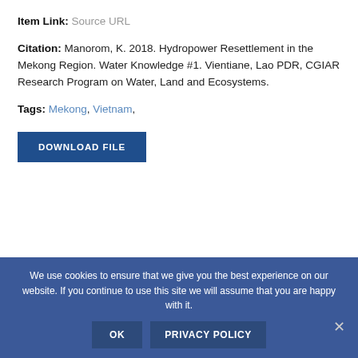Item Link: Source URL
Citation: Manorom, K. 2018. Hydropower Resettlement in the Mekong Region. Water Knowledge #1. Vientiane, Lao PDR, CGIAR Research Program on Water, Land and Ecosystems.
Tags: Mekong, Vietnam,
DOWNLOAD FILE
We use cookies to ensure that we give you the best experience on our website. If you continue to use this site we will assume that you are happy with it.
OK
PRIVACY POLICY